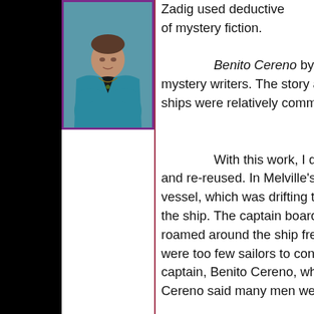[Figure (photo): Portrait photo of a woman in a teal blazer with arms crossed, wearing a necklace, against a dark background. Photo has a purple border.]
Zadig used deductive reasoning... of mystery fiction.

Benito Cereno by Her... mystery writers. The story ab... ships were relatively common...

With this work, I quick... and re-reused. In Melville's s... vessel, which was drifting tow... the ship. The captain boarde... roamed around the ship freel... were too few sailors to contro... captain, Benito Cereno, who ... Cereno said many men were...

Delano supplied wate...